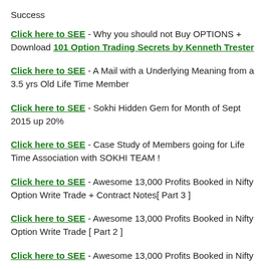Success
Click here to SEE - Why you should not Buy OPTIONS + Download 101 Option Trading Secrets by Kenneth Trester
Click here to SEE - A Mail with a Underlying Meaning from a 3.5 yrs Old Life Time Member
Click here to SEE - Sokhi Hidden Gem for Month of Sept 2015 up 20%
Click here to SEE - Case Study of Members going for Life Time Association with SOKHI TEAM !
Click here to SEE - Awesome 13,000 Profits Booked in Nifty Option Write Trade + Contract Notes[ Part 3 ]
Click here to SEE - Awesome 13,000 Profits Booked in Nifty Option Write Trade [ Part 2 ]
Click here to SEE - Awesome 13,000 Profits Booked in Nifty